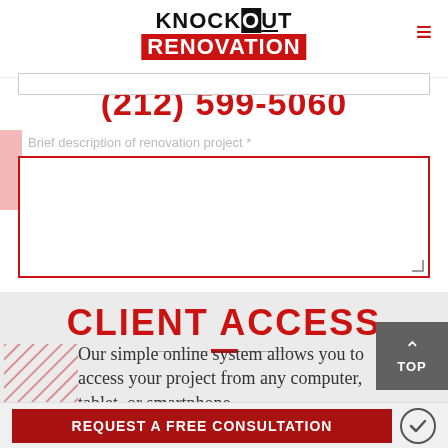[Figure (logo): Knockout Renovation logo — black bold text KNOCKOUT with white OUT on black background, red bold RENOVATION below]
(212) 599-5060
Brief description of renovation project *
CLIENT ACCESS
Our simple online system allows you to access your project from any computer, tablet, or smartphone.
REQUEST A FREE CONSULTATION